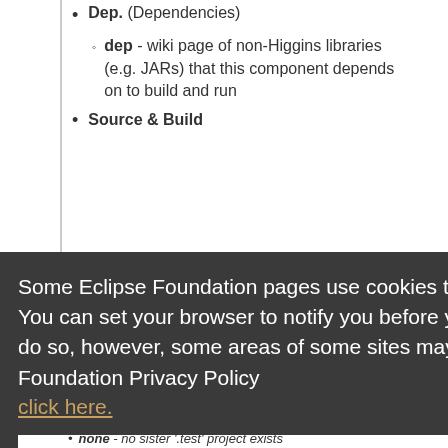Dep. (Dependencies)
dep - wiki page of non-Higgins libraries (e.g. JARs) that this component depends on to build and run
Source & Build
Some Eclipse Foundation pages use cookies to better serve you when you return to the site. You can set your browser to notify you before you receive a cookie or turn off cookies. If you do so, however, some areas of some sites may not function properly. To read Eclipse Foundation Privacy Policy
click here.
Decline
Allow cookies
none - no sister ‘.test’ project exists